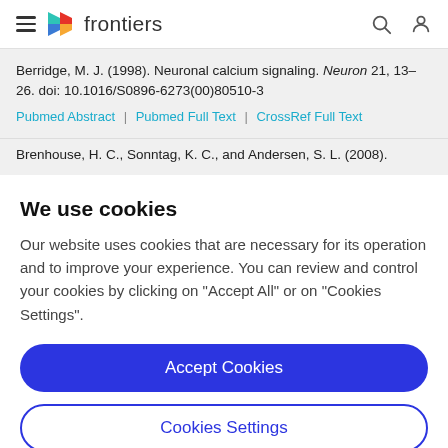frontiers
Berridge, M. J. (1998). Neuronal calcium signaling. Neuron 21, 13–26. doi: 10.1016/S0896-6273(00)80510-3
Pubmed Abstract | Pubmed Full Text | CrossRef Full Text
Brenhouse, H. C., Sonntag, K. C., and Andersen, S. L. (2008).
We use cookies
Our website uses cookies that are necessary for its operation and to improve your experience. You can review and control your cookies by clicking on "Accept All" or on "Cookies Settings".
Accept Cookies
Cookies Settings